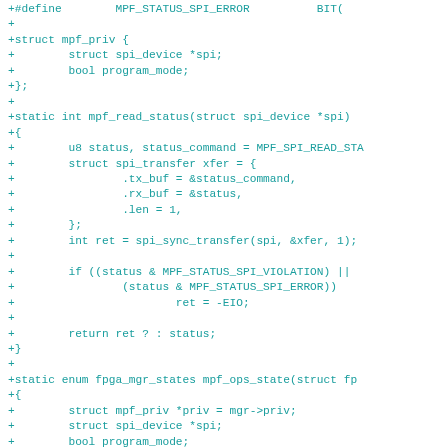[Figure (screenshot): Code diff showing C source code additions for an FPGA SPI driver, including struct mpf_priv, mpf_read_status function, and beginning of mpf_ops_state function, displayed in teal/cyan monospace font on white background.]